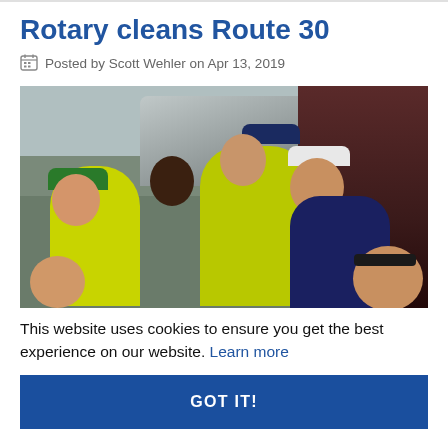Rotary cleans Route 30
Posted by Scott Wehler on Apr 13, 2019
[Figure (photo): Group selfie photo of Rotary volunteers wearing yellow safety vests and hats, standing outdoors near vehicles while cleaning Route 30.]
This website uses cookies to ensure you get the best experience on our website. Learn more
GOT IT!